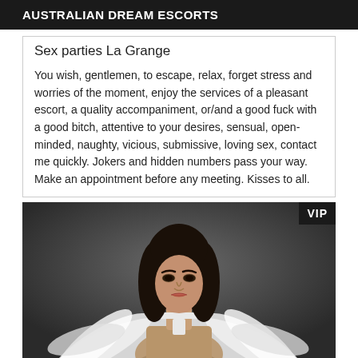AUSTRALIAN DREAM ESCORTS
Sex parties La Grange
You wish, gentlemen, to escape, relax, forget stress and worries of the moment, enjoy the services of a pleasant escort, a quality accompaniment, or/and a good fuck with a good bitch, attentive to your desires, sensual, open-minded, naughty, vicious, submissive, loving sex, contact me quickly. Jokers and hidden numbers pass your way. Make an appointment before any meeting. Kisses to all.
[Figure (photo): Woman with dark hair wearing white feathered accessories, posed against a dark background. VIP badge in top right corner.]